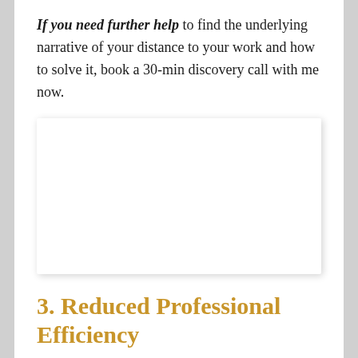If you need further help to find the underlying narrative of your distance to your work and how to solve it, book a 30-min discovery call with me now.
[Figure (other): A blank white rectangular image placeholder with a light shadow, no visible content.]
3. Reduced Professional Efficiency